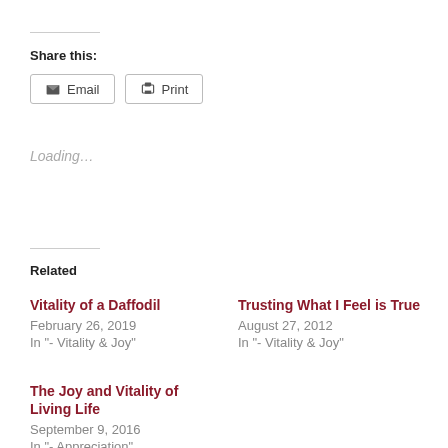Share this:
Email   Print
Loading...
Related
Vitality of a Daffodil
February 26, 2019
In "- Vitality & Joy"
Trusting What I Feel is True
August 27, 2012
In "- Vitality & Joy"
The Joy and Vitality of Living Life
September 9, 2016
In "- Appreciation"